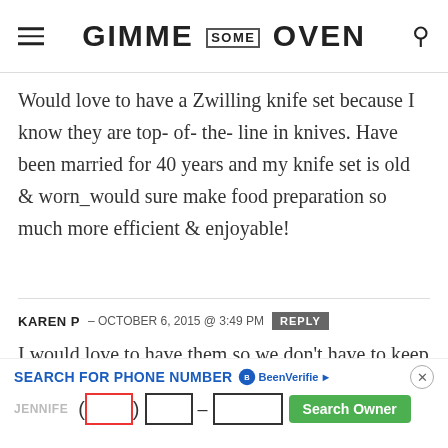GIMME SOME OVEN
Would love to have a Zwilling knife set because I know they are top- of- the- line in knives. Have been married for 40 years and my knife set is old & worn_would sure make food preparation so much more efficient & enjoyable!
KAREN P — OCTOBER 6, 2015 @ 3:49 PM REPLY
I would love to have them so we don't have to keep using the ones we got 15 years ago.
[Figure (screenshot): Advertisement banner for BeenVerified phone number search with input fields and Search Owner button]